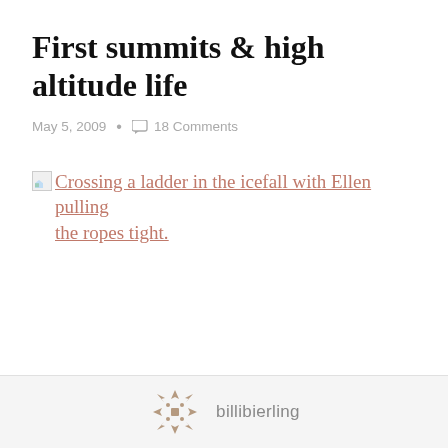First summits & high altitude life
May 5, 2009  •  18 Comments
Crossing a ladder in the icefall with Ellen pulling the ropes tight.
billibierling